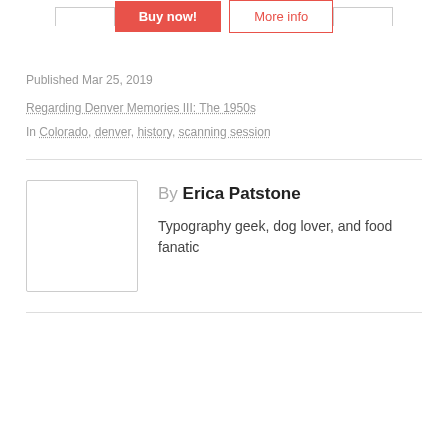[Figure (other): Two buttons: 'Buy now!' (red filled) and 'More info' (red outlined), shown at top of page within a box border]
Published Mar 25, 2019
Regarding Denver Memories III: The 1950s
In Colorado, denver, history, scanning session
By Erica Patstone
Typography geek, dog lover, and food fanatic